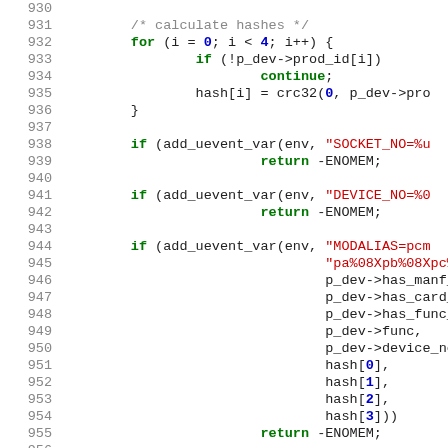[Figure (screenshot): Source code listing showing lines 930-956 of a C kernel driver file, with syntax highlighting. Code includes a loop calculating hashes and calls to add_uevent_var with SOCKET_NO, DEVICE_NO, and MODALIAS parameters.]